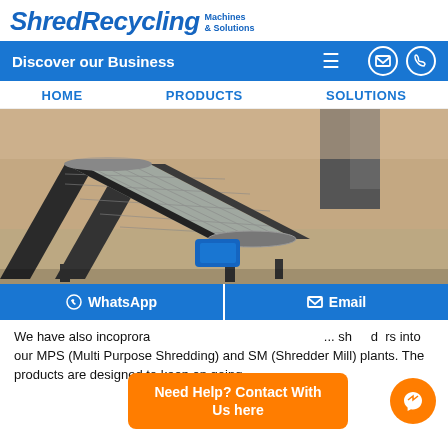ShredRecycling Machines & Solutions
Discover our Business
HOME   PRODUCTS   SOLUTIONS
[Figure (photo): Industrial conveyor belt / screening machine shown in a warehouse or factory floor. The machine is made of dark metal framing with a metallic mesh conveyor surface angled upward. A blue motor/drive unit is visible at the lower end.]
WhatsApp   Email
Need Help? Contact With Us here
We have also incoprora... shredders into our MPS (Multi Purpose Shredding) and SM (Shredder Mill) plants. The products are designed to keep on going...